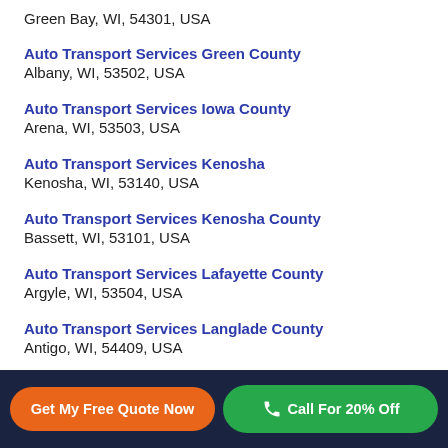Green Bay, WI, 54301, USA
Auto Transport Services Green County
Albany, WI, 53502, USA
Auto Transport Services Iowa County
Arena, WI, 53503, USA
Auto Transport Services Kenosha
Kenosha, WI, 53140, USA
Auto Transport Services Kenosha County
Bassett, WI, 53101, USA
Auto Transport Services Lafayette County
Argyle, WI, 53504, USA
Auto Transport Services Langlade County
Antigo, WI, 54409, USA
Get My Free Quote Now | Call For 20% Off